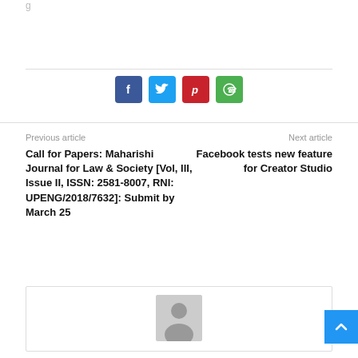[Figure (infographic): Row of four social share buttons: Facebook (blue), Twitter (light blue), Pinterest (red), WhatsApp (green)]
Previous article
Next article
Call for Papers: Maharishi Journal for Law & Society [Vol, III, Issue II, ISSN: 2581-8007, RNI: UPENG/2018/7632]: Submit by March 25
Facebook tests new feature for Creator Studio
[Figure (photo): Grey placeholder avatar image with a person silhouette icon]